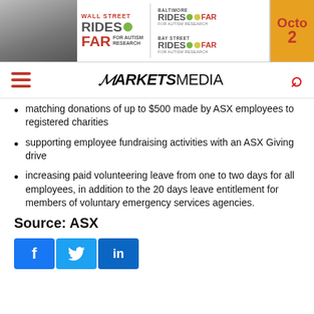[Figure (other): Banner advertisement for Wall Street Rides FAR, Baltimore Rides FAR, Bay Street Rides FAR for Autism Research with October date]
MARKETS MEDIA
matching donations of up to $500 made by ASX employees to registered charities
supporting employee fundraising activities with an ASX Giving drive
increasing paid volunteering leave from one to two days for all employees, in addition to the 20 days leave entitlement for members of voluntary emergency services agencies.
Source: ASX
[Figure (other): Social media share buttons: Facebook, Twitter, LinkedIn]